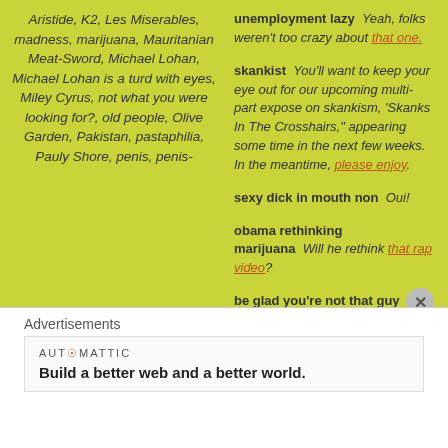Aristide, K2, Les Miserables, madness, marijuana, Mauritanian Meat-Sword, Michael Lohan, Michael Lohan is a turd with eyes, Miley Cyrus, not what you were looking for?, old people, Olive Garden, Pakistan, pastaphilia, Pauly Shore, penis, penis-
unemployment lazy  Yeah, folks weren't too crazy about that one.
skankist  You'll want to keep your eye out for our upcoming multi-part expose on skankism, 'Skanks In The Crosshairs," appearing some time in the next few weeks.  In the meantime, please enjoy.
sexy dick in mouth non  Oui!
obama rethinking marijuana  Will he rethink that rap video?
be glad you're not that guy  Oh, we are.
Advertisements
AUTOMATTIC Build a better web and a better world.